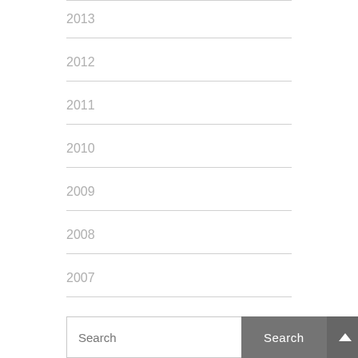2013
2012
2011
2010
2009
2008
2007
Search